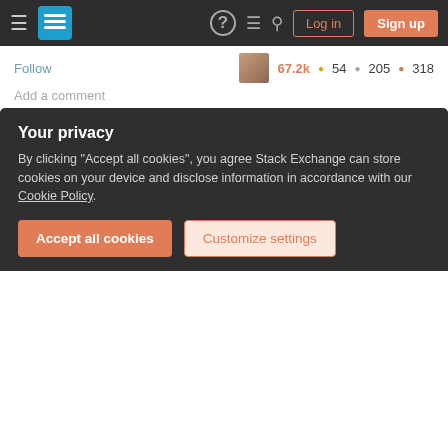Stack Exchange navigation bar with Log in and Sign up buttons
Follow   67.2k ● 54 ● 205 ● 318
Add a comment
Use this:
alias vv="vim -c 'norm! ^O'"
norm execute normal mode command ^O as if you type it. See :help :normal for more information.
Your privacy
By clicking "Accept all cookies", you agree Stack Exchange can store cookies on your device and disclose information in accordance with our Cookie Policy.
Accept all cookies
Customize settings